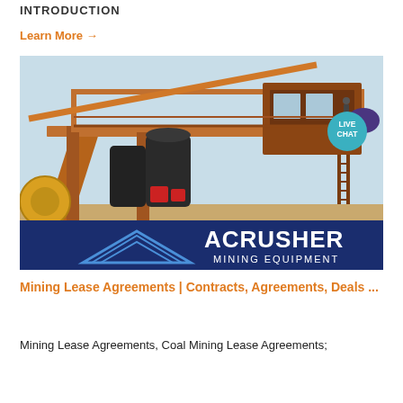INTRODUCTION
Learn More →
[Figure (photo): Industrial mining crusher equipment with orange steel structure and elevated control room. ACRUSHER MINING EQUIPMENT banner visible at bottom with logo. Live Chat speech bubble badge in top right corner.]
Mining Lease Agreements | Contracts, Agreements, Deals ...
Mining Lease Agreements, Coal Mining Lease Agreements;